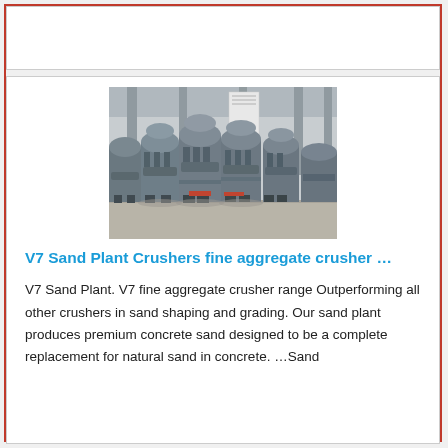[Figure (photo): Row of large industrial V7 sand plant crushers (fine aggregate crushers) in a factory/warehouse setting with steel columns and a white banner visible in the background. Machines are gray with cylindrical bodies on wheeled bases.]
V7 Sand Plant Crushers fine aggregate crusher …
V7 Sand Plant. V7 fine aggregate crusher range Outperforming all other crushers in sand shaping and grading. Our sand plant produces premium concrete sand designed to be a complete replacement for natural sand in concrete. …Sand